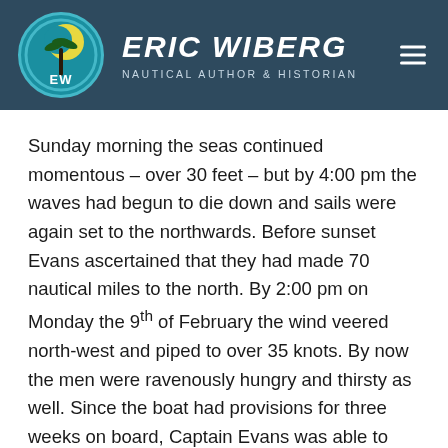ERIC WIBERG — NAUTICAL AUTHOR & HISTORIAN
Sunday morning the seas continued momentous – over 30 feet – but by 4:00 pm the waves had begun to die down and sails were again set to the northwards. Before sunset Evans ascertained that they had made 70 nautical miles to the north. By 2:00 pm on Monday the 9th of February the wind veered north-west and piped to over 35 knots. By now the men were ravenously hungry and thirsty as well. Since the boat had provisions for three weeks on board, Captain Evans was able to give them a pint of water a day. But despite massage oil their feet swelled at times to twice the usual size, and their hands and knees ached with pain.